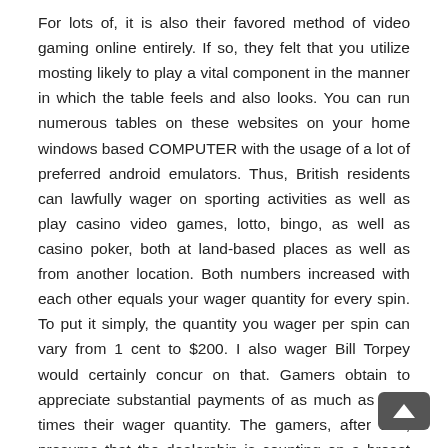For lots of, it is also their favored method of video gaming online entirely. If so, they felt that you utilize mosting likely to play a vital component in the manner in which the table feels and also looks. You can run numerous tables on these websites on your home windows based COMPUTER with the usage of a lot of preferred android emulators. Thus, British residents can lawfully wager on sporting activities as well as play casino video games, lotto, bingo, as well as casino poker, both at land-based places as well as from another location. Both numbers increased with each other equals your wager quantity for every spin. To put it simply, the quantity you wager per spin can vary from 1 cent to $200. I also wager Bill Torpey would certainly concur on that. Gamers obtain to appreciate substantial payments of as much as nine times their wager quantity. The gamers, after that, presume that the dealership is counting on a breast hand, so the various other gamers have the